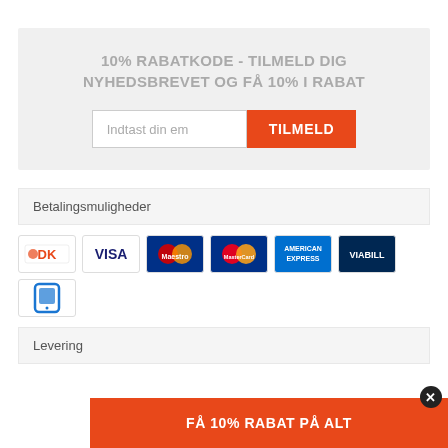10% RABATKODE - TILMELD DIG NYHEDSBREVET OG FÅ 10% I RABAT
[Figure (screenshot): Email input field with placeholder 'Indtast din em' and orange button labeled 'TILMELD']
Betalingsmuligheder
[Figure (logo): Payment method logos: DK, VISA, Maestro, MasterCard, American Express, ViaBill, and a mobile pay icon]
Levering
FÅ 10% RABAT PÅ ALT